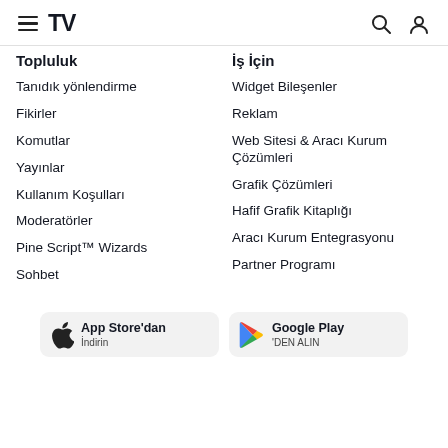TradingView navigation header with hamburger menu, logo, search and user icons
Topluluk
Tanıdık yönlendirme
Fikirler
Komutlar
Yayınlar
Kullanım Koşulları
Moderatörler
Pine Script™ Wizards
Sohbet
İş İçin
Widget Bileşenler
Reklam
Web Sitesi & Aracı Kurum Çözümleri
Grafik Çözümleri
Hafif Grafik Kitaplığı
Aracı Kurum Entegrasyonu
Partner Programı
[Figure (screenshot): App Store'dan İndirin button]
[Figure (screenshot): Google Play'DEN ALIN button]